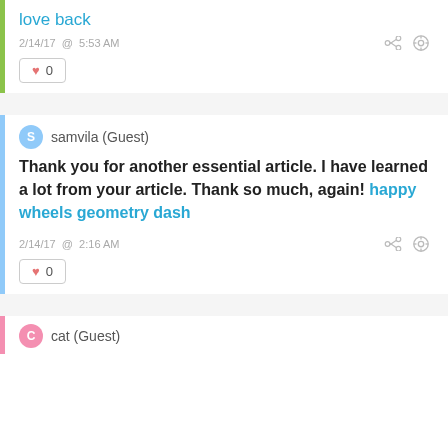love back
2/14/17 @ 5:53 AM
♥ 0
samvila (Guest)
Thank you for another essential article. I have learned a lot from your article. Thank so much, again! happy wheels geometry dash
2/14/17 @ 2:16 AM
♥ 0
cat (Guest)